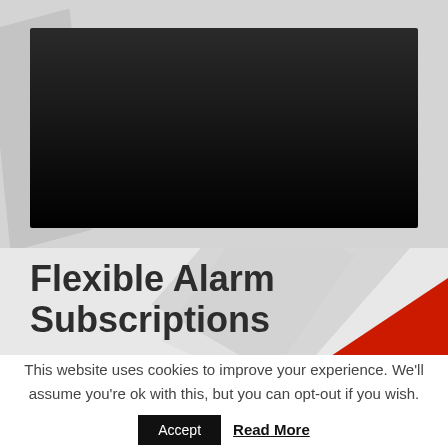[Figure (photo): Dark video player thumbnail area with grey geometric decorative background shapes on the left side]
Flexible Alarm Subscriptions
This website uses cookies to improve your experience. We'll assume you're ok with this, but you can opt-out if you wish.
Accept   Read More